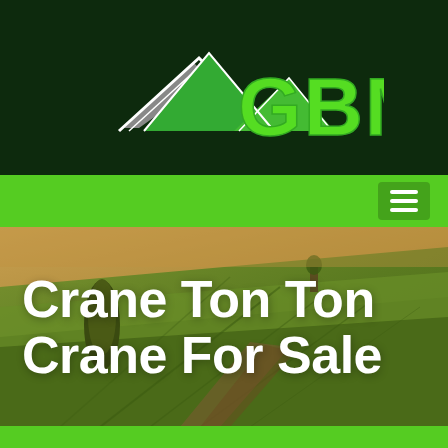[Figure (logo): GBM company logo: mountain/arrow shape in green and grey with large green bold text GBM on dark green background]
[Figure (photo): Aerial photo of rolling agricultural fields with green and golden tones, trees/crop rows visible, used as hero background image]
Crane Ton Ton Crane For Sale